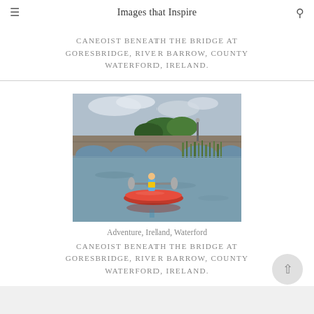Images that Inspire
CANEOIST BENEATH THE BRIDGE AT GORESBRIDGE, RIVER BARROW, COUNTY WATERFORD, IRELAND.
[Figure (photo): A caneoist in a red kayak on calm river water beneath a stone arch bridge with trees and reeds in the background. Overcast sky. River Barrow at Goresbridge, County Waterford, Ireland.]
Adventure, Ireland, Waterford
CANEOIST BENEATH THE BRIDGE AT GORESBRIDGE, RIVER BARROW, COUNTY WATERFORD, IRELAND.